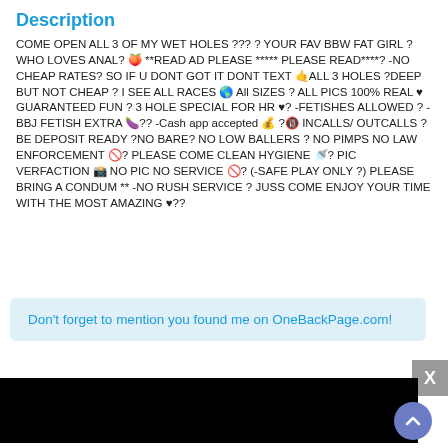Description
COME OPEN ALL 3 OF MY WET HOLES ??? ? YOUR FAV BBW FAT GIRL ? WHO LOVES ANAL? 🍑 **READ AD PLEASE ***** PLEASE READ****? -NO CHEAP RATES? SO IF U DONT GOT IT DONT TEXT 🤙ALL 3 HOLES ?DEEP BUT NOT CHEAP ? I SEE ALL RACES 🌎 All SIZES ? ALL PICS 100% REAL ♥ GUARANTEED FUN ? 3 HOLE SPECIAL FOR HR ♥? -FETISHES ALLOWED ? -BBJ FETISH EXTRA 🍆?? -Cash app accepted 💰 ?🔞 INCALLS/ OUTCALLS ? BE DEPOSIT READY ?NO BARE? NO LOW BALLERS ? NO PIMPS NO LAW ENFORCEMENT 🚫? PLEASE COME CLEAN HYGIENE 🚿? PIC VERFACTION 📸 NO PIC NO SERVICE 🚫? (-SAFE PLAY ONLY ?) PLEASE BRING A CONDUM ** -NO RUSH SERVICE ? JUSS COME ENJOY YOUR TIME WITH THE MOST AMAZING ♥??
Don't forget to mention you found me on OneBackPage.com!